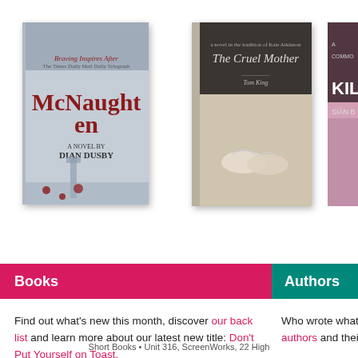[Figure (photo): Book cover: McNaughten, a novel by Dian Dusby, with Big Ben and London scene]
[Figure (photo): Book cover: The Cruel Mother]
[Figure (photo): Book cover: A Common Killer by Siân B (partially cropped)]
Books
Authors
Find out what's new this month, discover our back list and learn more about our latest new title: Don't Put Yourself on Toast.
Who wrote what, wh authors and their bo
Short Books • Unit 316, ScreenWorks, 22 High